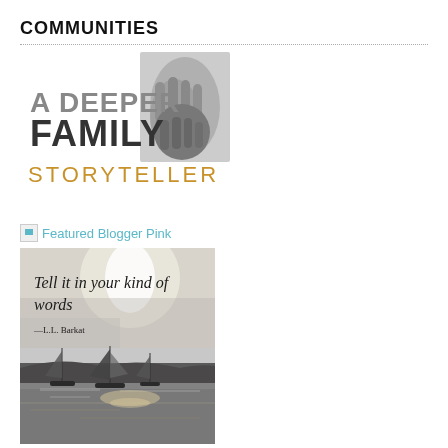COMMUNITIES
[Figure (logo): A Deeper Family Storyteller logo with handholding image in black and white, text reads 'A DEEPER FAMILY' in dark gray bold and 'STORYTELLER' in orange/gold]
Featured Blogger Pink
[Figure (photo): Quote image over photo of sailboats on water at sunset/dusk with quote 'Tell it in your kind of words —L.L. Barkat' in handwritten style font]